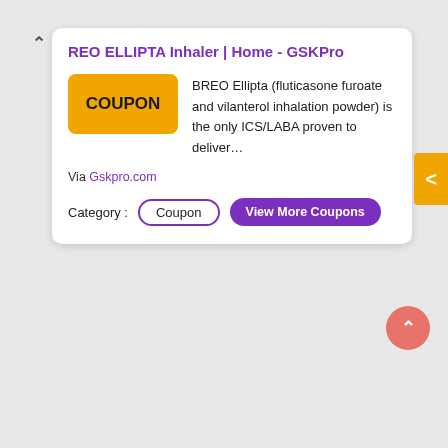REO ELLIPTA Inhaler | Home - GSKPro
[Figure (other): Yellow coupon badge with text COUPON]
BREO Ellipta (fluticasone furoate and vilanterol inhalation powder) is the only ICS/LABA proven to deliver…
Via Gskpro.com
Category : Coupon
View More Coupons